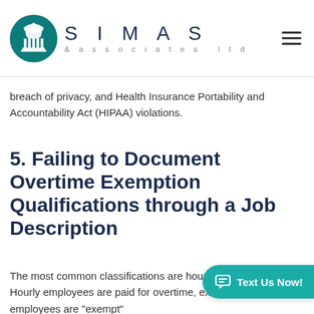SIMAS & associates ltd
breach of privacy, and Health Insurance Portability and Accountability Act (HIPAA) violations.
5. Failing to Document Overtime Exemption Qualifications through a Job Description
The most common classifications are hourly and exempt. Hourly employees are paid for overtime, exempt employees are "exempt"